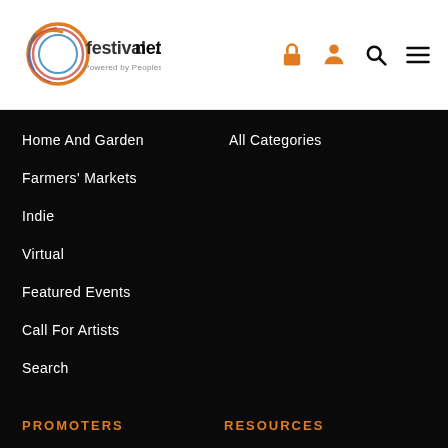[Figure (logo): Festivalnet logo with colorful circular graphic and text 'festivalnet' with 'Powered by Peoples' subtitle]
[Figure (infographic): Header icons: lock, user/person, search/magnifying glass, and hamburger menu - all in orange]
Home And Garden
Farmers' Markets
Indie
Virtual
Featured Events
Call For Artists
Search
All Categories
PROMOTERS
RESOURCES